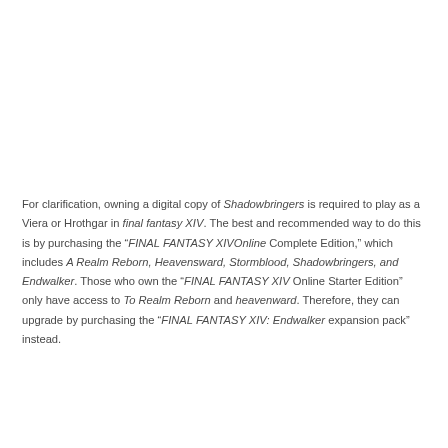For clarification, owning a digital copy of Shadowbringers is required to play as a Viera or Hrothgar in final fantasy XIV. The best and recommended way to do this is by purchasing the "FINAL FANTASY XIVOnline Complete Edition," which includes A Realm Reborn, Heavensward, Stormblood, Shadowbringers, and Endwalker. Those who own the "FINAL FANTASY XIV Online Starter Edition" only have access to To Realm Reborn and heavenward. Therefore, they can upgrade by purchasing the "FINAL FANTASY XIV: Endwalker expansion pack" instead.